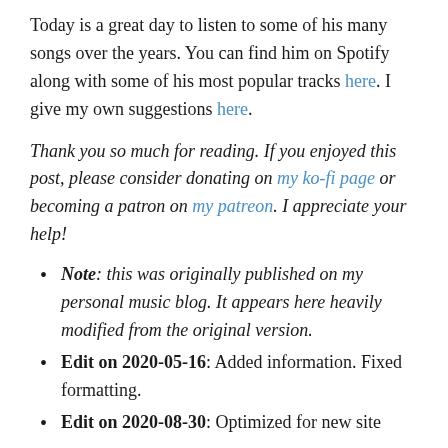Today is a great day to listen to some of his many songs over the years. You can find him on Spotify along with some of his most popular tracks here. I give my own suggestions here.
Thank you so much for reading. If you enjoyed this post, please consider donating on my ko-fi page or becoming a patron on my patreon. I appreciate your help!
Note: this was originally published on my personal music blog. It appears here heavily modified from the original version.
Edit on 2020-05-16: Added information. Fixed formatting.
Edit on 2020-08-30: Optimized for new site